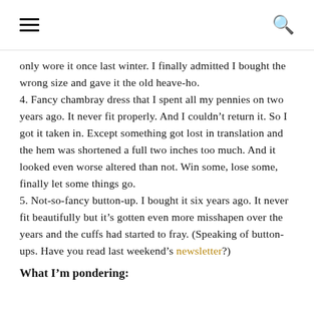[hamburger menu icon] [search icon]
only wore it once last winter. I finally admitted I bought the wrong size and gave it the old heave-ho.
4. Fancy chambray dress that I spent all my pennies on two years ago. It never fit properly. And I couldn't return it. So I got it taken in. Except something got lost in translation and the hem was shortened a full two inches too much. And it looked even worse altered than not. Win some, lose some, finally let some things go.
5. Not-so-fancy button-up. I bought it six years ago. It never fit beautifully but it's gotten even more misshapen over the years and the cuffs had started to fray. (Speaking of button-ups. Have you read last weekend's newsletter?)
What I'm pondering: